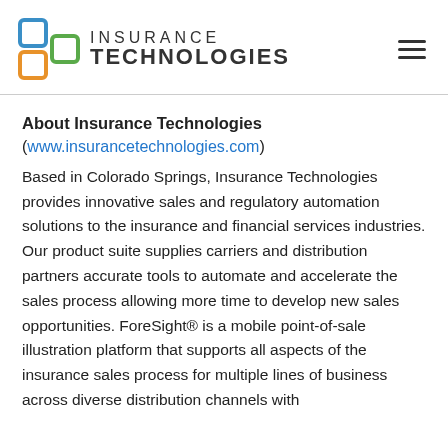[Figure (logo): Insurance Technologies logo: interlocking colored squares icon (blue, orange, green) with text 'INSURANCE TECHNOLOGIES' in bold sans-serif, and a hamburger menu icon on the right]
About Insurance Technologies
(www.insurancetechnologies.com)
Based in Colorado Springs, Insurance Technologies provides innovative sales and regulatory automation solutions to the insurance and financial services industries. Our product suite supplies carriers and distribution partners accurate tools to automate and accelerate the sales process allowing more time to develop new sales opportunities. ForeSight® is a mobile point-of-sale illustration platform that supports all aspects of the insurance sales process for multiple lines of business across diverse distribution channels with